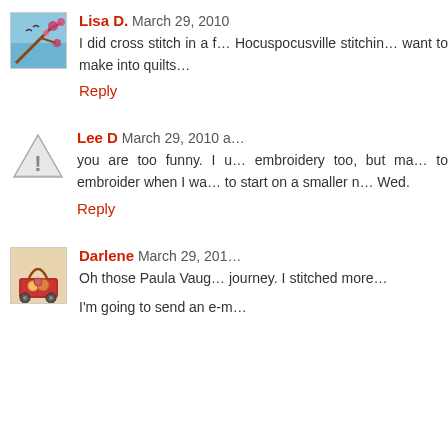Lisa D. March 29, 2010
I did cross stitch in a f… Hocuspocusville stitchin… want to make into quilts…
Reply
Lee D March 29, 2010 a…
you are too funny. I u… embroidery too, but ma… to embroider when I wa… to start on a smaller n… Wed.
Reply
Darlene March 29, 201…
Oh those Paula Vaug… journey. I stitched more…
I'm going to send an e-m…